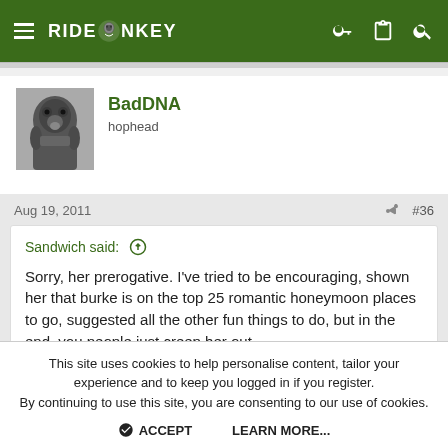RIDEMONKEY
[Figure (screenshot): User avatar showing a gorilla/ape photo]
BadDNA
hophead
Aug 19, 2011  #36
Sandwich said: ↑
Sorry, her prerogative. I've tried to be encouraging, shown her that burke is on the top 25 romantic honeymoon places to go, suggested all the other fun things to do, but in the end, you people just creep her out.
This site uses cookies to help personalise content, tailor your experience and to keep you logged in if you register.
By continuing to use this site, you are consenting to our use of cookies.
ACCEPT   LEARN MORE...